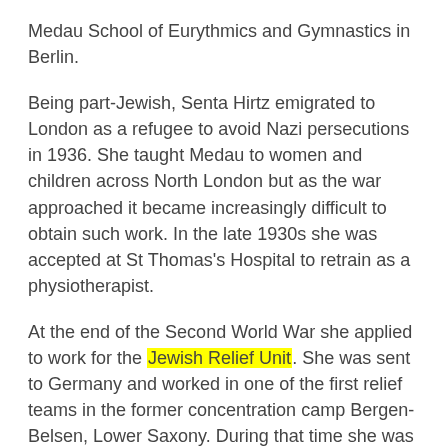Medau School of Eurythmics and Gymnastics in Berlin.
Being part-Jewish, Senta Hirtz emigrated to London as a refugee to avoid Nazi persecutions in 1936. She taught Medau to women and children across North London but as the war approached it became increasingly difficult to obtain such work. In the late 1930s she was accepted at St Thomas's Hospital to retrain as a physiotherapist.
At the end of the Second World War she applied to work for the Jewish Relief Unit. She was sent to Germany and worked in one of the first relief teams in the former concentration camp Bergen-Belsen, Lower Saxony. During that time she was also reunited with her mother.
She returned to the UK in 1946 and continued to live